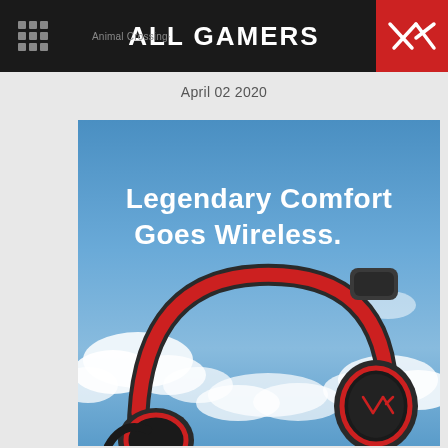ALL GAMERS
April 02 2020
[Figure (illustration): HyperX Cloud wireless gaming headset advertisement. Blue sky with white clouds background. White bold text reads 'Legendary Comfort Goes Wireless.' Red and black HyperX headset shown in lower portion of image.]